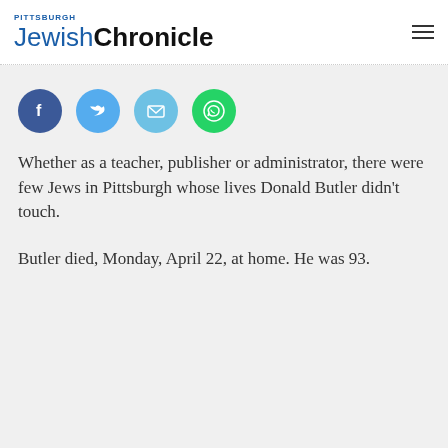Pittsburgh Jewish Chronicle
[Figure (other): Social sharing icons: Facebook, Twitter, Email, WhatsApp]
Whether as a teacher, publisher or administrator, there were few Jews in Pittsburgh whose lives Donald Butler didn't touch.
Butler died, Monday, April 22, at home. He was 93.